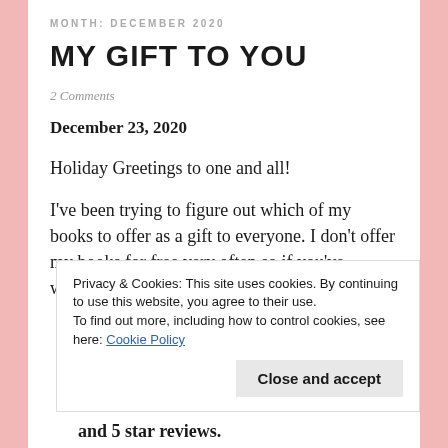MONTH: DECEMBER 2020
MY GIFT TO YOU
2 Comments
December 23, 2020
Holiday Greetings to one and all!
I've been trying to figure out which of my books to offer as a gift to everyone. I don't offer my books for free very often so if you've wanted a copy of
Privacy & Cookies: This site uses cookies. By continuing to use this website, you agree to their use.
To find out more, including how to control cookies, see here: Cookie Policy
and 5 star reviews.